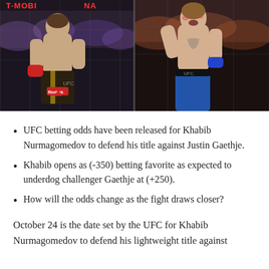[Figure (photo): Two UFC fighters side by side in the octagon cage. Left fighter in dark shorts with Reebok logo, right fighter shirtless with blue shorts. T-Mobile Arena banner visible at top.]
UFC betting odds have been released for Khabib Nurmagomedov to defend his title against Justin Gaethje.
Khabib opens as (-350) betting favorite as expected to underdog challenger Gaethje at (+250).
How will the odds change as the fight draws closer?
October 24 is the date set by the UFC for Khabib Nurmagomedov to defend his lightweight title against